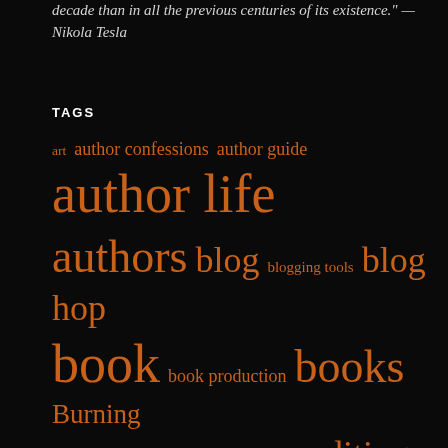decade than in all the previous centuries of its existence." — Nikola Tesla
TAGS
art author confessions author guide author life authors blog blogging tools blog hop book book production books Burning Down creative writing dogs editing editor edits fantasy for writers guides history hop k. williams literary literature novel novels open Open Book open book blog hop paranormal publishing reading science fiction The Blog The